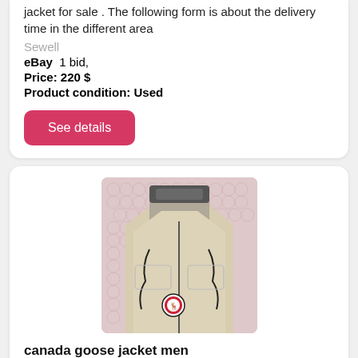jacket for sale . The following form is about the delivery time in the different area
Sewell
eBay  1 bid,
Price: 220 $
Product condition: Used
See details
[Figure (photo): Canada Goose jacket in cream/beige color with black drawstrings and Canada Goose logo patch, photographed on pink bubble wrap packaging]
canada goose jacket men
Canada goose jacket men, Canada goose